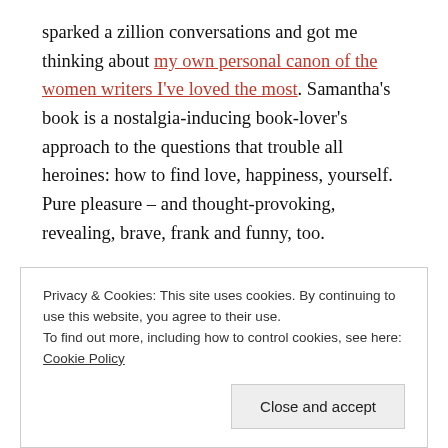sparked a zillion conversations and got me thinking about my own personal canon of the women writers I've loved the most. Samantha's book is a nostalgia-inducing book-lover's approach to the questions that trouble all heroines: how to find love, happiness, yourself. Pure pleasure – and thought-provoking, revealing, brave, frank and funny, too.
[Figure (photo): Book cover showing 'PENELOPE FITZGERALD' by Hermione Lee, with orange/brown background and stylized text]
Privacy & Cookies: This site uses cookies. By continuing to use this website, you agree to their use. To find out more, including how to control cookies, see here: Cookie Policy
Close and accept